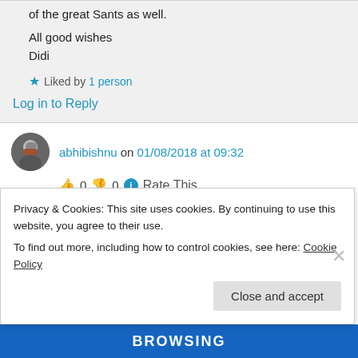of the great Sants as well.
All good wishes
Didi
★ Liked by 1 person
Log in to Reply
abhibishnu on 01/08/2018 at 09:32
👍 0 👎 0 ℹ Rate This
Privacy & Cookies: This site uses cookies. By continuing to use this website, you agree to their use.
To find out more, including how to control cookies, see here: Cookie Policy
Close and accept